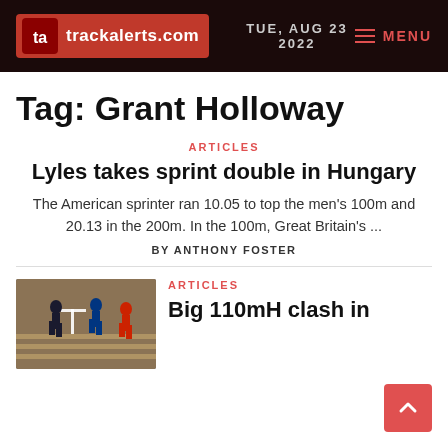trackalerts.com | TUE, AUG 23 2022 | MENU
Tag: Grant Holloway
ARTICLES
Lyles takes sprint double in Hungary
The American sprinter ran 10.05 to top the men's 100m and 20.13 in the 200m. In the 100m, Great Britain's ...
BY ANTHONY FOSTER
ARTICLES
[Figure (photo): Athletes competing in 110m hurdles race on a track]
Big 110mH clash in